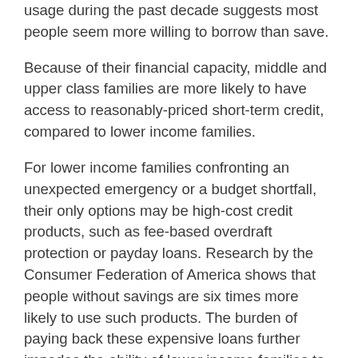usage during the past decade suggests most people seem more willing to borrow than save.
Because of their financial capacity, middle and upper class families are more likely to have access to reasonably-priced short-term credit, compared to lower income families.
For lower income families confronting an unexpected emergency or a budget shortfall, their only options may be high-cost credit products, such as fee-based overdraft protection or payday loans. Research by the Consumer Federation of America shows that people without savings are six times more likely to use such products. The burden of paying back these expensive loans further impedes the ability of lower income families to save by putting additional demands on already strained family budgets. This can have the effect of locking lower income families into a vicious cycle of debt that provides few exits to financial wealth building and economic